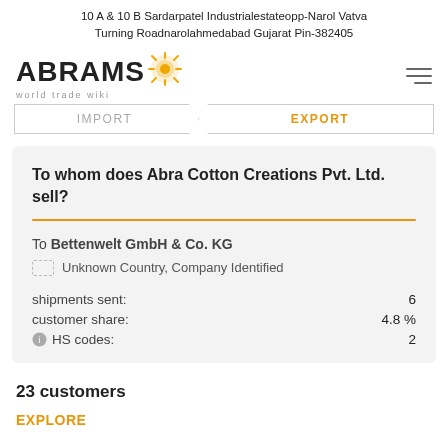10 A & 10 B Sardarpatel Industrialestateopp-Narol Vatva Turning Roadnarolahmedabad Gujarat Pin-382405
[Figure (logo): ABRAMS world trade wiki logo with sun/gear icon]
IMPORT | EXPORT
To whom does Abra Cotton Creations Pvt. Ltd. sell?
To Bettenwelt GmbH & Co. KG
Unknown Country, Company Identified
shipments sent: 6
customer share: 4.8 %
HS codes: 2
23 customers
EXPLORE